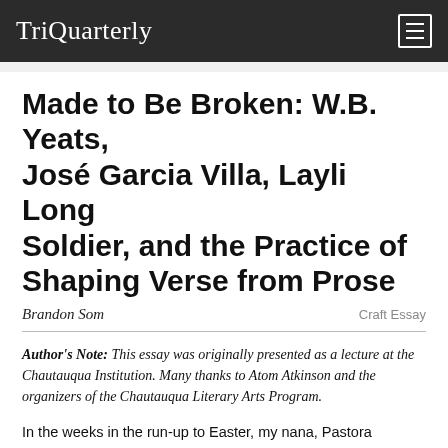TriQuarterly
Made to Be Broken: W.B. Yeats, José Garcia Villa, Layli Long Soldier, and the Practice of Shaping Verse from Prose
Brandon Som
Craft Essay
Author's Note: This essay was originally presented as a lecture at the Chautauqua Institution. Many thanks to Atom Atkinson and the organizers of the Chautauqua Literary Arts Program.
In the weeks in the run-up to Easter, my nana, Pastora Mendoza, teases for breakfast the raw egg from the pinhole she's carefully punctured in order to keep the eggshell whole and unbroken. After she has washed and dried it, she'll save the shell safely back in its carton. With four or five dozen collected, she'll color